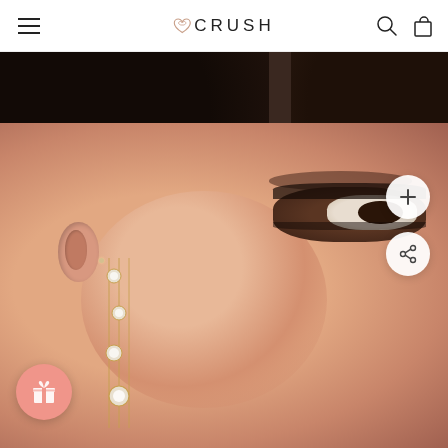CRUSH — navigation header with hamburger menu, logo, search and cart icons
[Figure (photo): Close-up photo of a woman's face and ear wearing a dangling diamond/crystal chain earring in gold. The woman has dark hair, brown eyes with dramatic eye makeup, and warm skin tone. The earring features bezel-set round crystals on gold chain strands. Two circular white overlay buttons appear on the right side (plus and share icons) and a pink/salmon gift icon button appears in the lower left.]